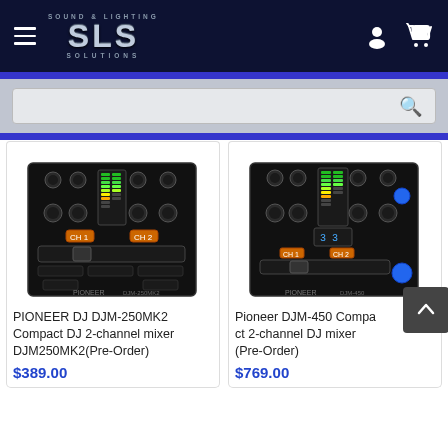SLS Sound & Lighting Solutions
[Figure (screenshot): SLS Sound & Lighting Solutions logo with hamburger menu, user icon, and cart icon on dark navy background]
[Figure (screenshot): Search bar with search icon on grey/blue background]
[Figure (photo): PIONEER DJ DJM-250MK2 black 2-channel DJ mixer product image]
PIONEER DJ DJM-250MK2 Compact DJ 2-channel mixer DJM250MK2(Pre-Order)
$389.00
[Figure (photo): Pioneer DJM-450 Compact 2-channel DJ mixer product image]
Pioneer DJM-450 Compact 2-channel DJ mixer (Pre-Order)
$769.00